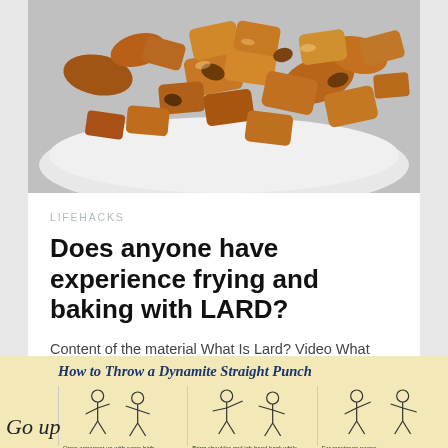[Figure (photo): A white plate piled with fried/baked pieces of lard or pork crackling, golden-brown in color]
LIFEHACKS
Does anyone have experience frying and baking with LARD?
Content of the material What Is Lard? Video What oil/fat should I use in a deep fat fryer? Why can't…
[Figure (infographic): How to Throw a Dynamite Straight Punch — illustrated infographic with three columns showing steps with figures]
Go up